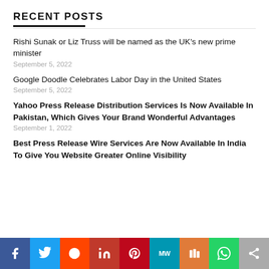RECENT POSTS
Rishi Sunak or Liz Truss will be named as the UK's new prime minister
September 5, 2022
Google Doodle Celebrates Labor Day in the United States
September 5, 2022
Yahoo Press Release Distribution Services Is Now Available In Pakistan, Which Gives Your Brand Wonderful Advantages
September 1, 2022
Best Press Release Wire Services Are Now Available In India To Give You Website Greater Online Visibility